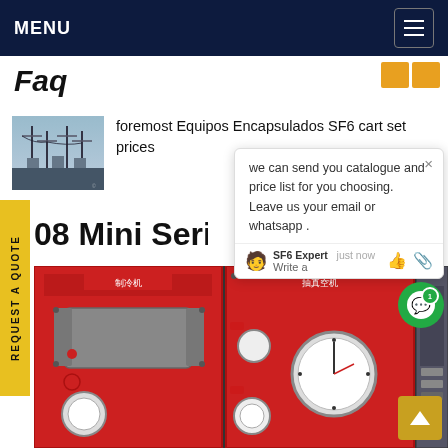MENU
Faq
[Figure (photo): Thumbnail photo of electrical substation with power lines and towers]
foremost Equipos Encapsulados SF6 cart set prices
we can send you catalogue and price list for you choosing. Leave us your email or whatsapp .
SF6 Expert   just now
Write a
08 Mini Series m
[Figure (photo): Red industrial SF6 gas handling mini series machine units on display]